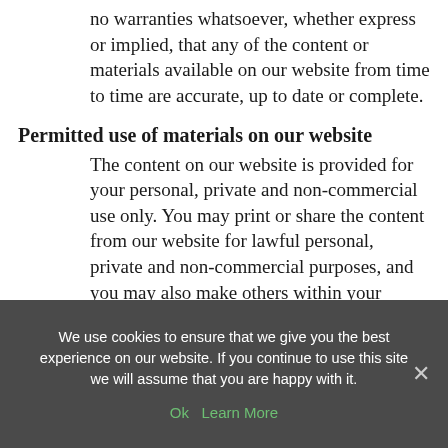no warranties whatsoever, whether express or implied, that any of the content or materials available on our website from time to time are accurate, up to date or complete.
Permitted use of materials on our website
The content on our website is provided for your personal, private and non-commercial use only. You may print or share the content from our website for lawful personal, private and non-commercial purposes, and you may also make others within your organisation aware of the content on our website. You
We use cookies to ensure that we give you the best experience on our website. If you continue to use this site we will assume that you are happy with it.
Ok   Learn More